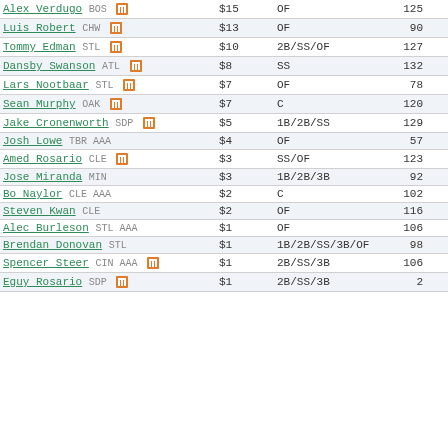| Player | Salary | Position | G | PA |
| --- | --- | --- | --- | --- |
| Alex Verdugo BOS | $15 | OF | 125 | 524 |
| Luis Robert CHW | $13 | OF | 90 | 378 |
| Tommy Edman STL | $10 | 2B/SS/OF | 127 | 530 |
| Dansby Swanson ATL | $8 | SS | 132 | 565 |
| Lars Nootbaar STL | $7 | OF | 78 | 248 |
| Sean Murphy OAK | $7 | C | 120 | 494 |
| Jake Cronenworth SDP | $5 | 1B/2B/SS | 129 | 564 |
| Josh Lowe TBR AAA | $4 | OF | 57 | 247 |
| Amed Rosario CLE | $3 | SS/OF | 123 | 534 |
| Jose Miranda MIN | $3 | 1B/2B/3B | 92 | 347 |
| Bo Naylor CLE AAA | $2 | C | 102 | 438 |
| Steven Kwan CLE | $2 | OF | 116 | 489 |
| Alec Burleson STL AAA | $1 | OF | 106 | 456 |
| Brendan Donovan STL | $1 | 1B/2B/SS/3B/OF | 98 | 357 |
| Spencer Steer CIN AAA | $1 | 2B/SS/3B | 106 | 492 |
| Eguy Rosario SDP | $1 | 2B/SS/3B | 2 | 2 |